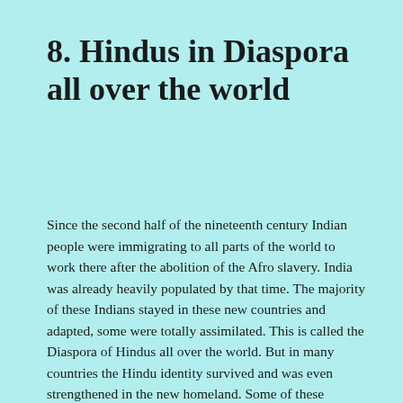8. Hindus in Diaspora all over the world
Since the second half of the nineteenth century Indian people were immigrating to all parts of the world to work there after the abolition of the Afro slavery. India was already heavily populated by that time. The majority of these Indians stayed in these new countries and adapted, some were totally assimilated. This is called the Diaspora of Hindus all over the world. But in many countries the Hindu identity survived and was even strengthened in the new homeland. Some of these countries are for example Mauritius, Guyana, Trinidad, Surinam, Fiji, Malaysia, Sri Lanka,